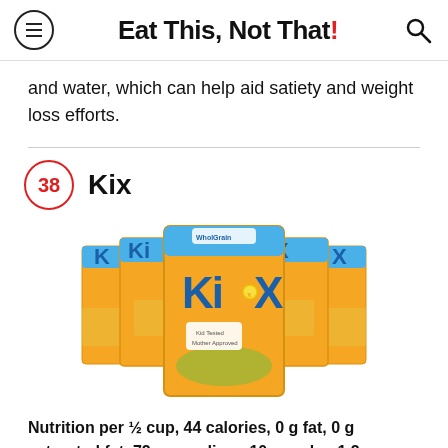Eat This, Not That!
and water, which can help aid satiety and weight loss efforts.
38 Kix
[Figure (photo): Multiple Kix cereal boxes arranged in a group, yellow and orange packaging with blue accents and corn imagery.]
Nutrition per ½ cup, 44 calories, 0 g fat, 0 g saturated fat, 72 mg sodium, 10 g carbs, 1.2 g